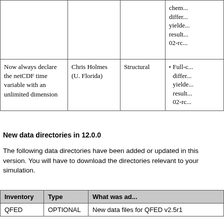|  |  |  |  |
| --- | --- | --- | --- |
|  |  |  | chem...
differ...
yielde...
result...
02-rc... |
| Now always declare the netCDF time variable with an unlimited dimension | Chris Holmes
(U. Florida) | Structural | Full-c...
differ...
yielde...
result...
02-rc... |
New data directories in 12.0.0
The following data directories have been added or updated in this version. You will have to download the directories relevant to your simulation.
| Inventory | Type | What was ad... |
| --- | --- | --- |
| QFED | OPTIONAL | New data files for QFED v2.5r1 |